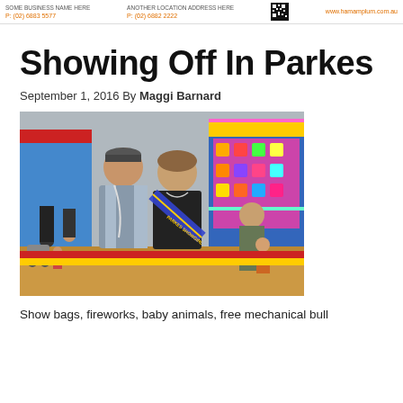P: (02) 6883 5577 | P: (02) 6882 2222 | www.hamamplum.com.au
Showing Off In Parkes
September 1, 2016 By Maggi Barnard
[Figure (photo): A man and a woman wearing a Parkes Showgirl sash standing at a showground fairway with carnival stalls in the background]
Show bags, fireworks, baby animals, free mechanical bull